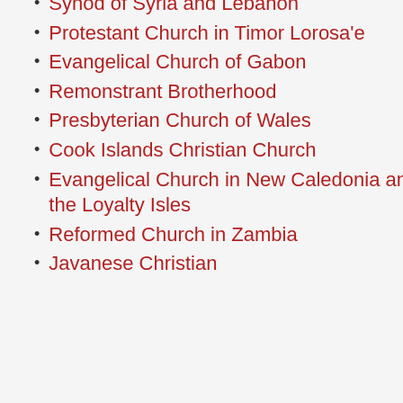Synod of Syria and Lebanon
Protestant Church in Timor Lorosa'e
Evangelical Church of Gabon
Remonstrant Brotherhood
Presbyterian Church of Wales
Cook Islands Christian Church
Evangelical Church in New Caledonia and the Loyalty Isles
Reformed Church in Zambia
Javanese Christian